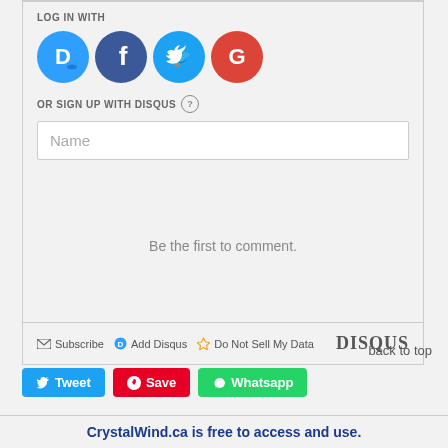LOG IN WITH
[Figure (illustration): Four social login icon circles: Disqus (blue), Facebook (dark blue), Twitter (light blue), Google (red)]
OR SIGN UP WITH DISQUS ?
Name
Be the first to comment.
Subscribe  Add Disqus  Do Not Sell My Data  DISQUS
back to top
Tweet  Save  Whatsapp
CrystalWind.ca is free to access and use.